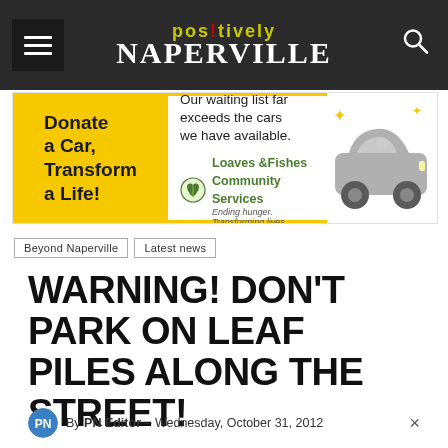POSITIVELY NAPERVILLE
[Figure (infographic): Advertisement banner for Loaves & Fishes Community Services car donation campaign. Yellow left panel reads 'Donate a Car, Transform a Life!' Right panel: 'Our waiting list far exceeds the cars we have available.' with Loaves & Fishes logo and a grey car illustration with sparkles.]
Beyond Naperville
Latest news
WARNING! DON'T PARK ON LEAF PILES ALONG THE STREET!
By PN Editor – Wednesday, October 31, 2012